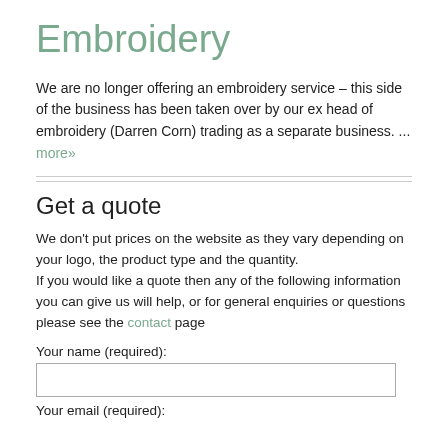Embroidery
We are no longer offering an embroidery service – this side of the business has been taken over by our ex head of embroidery (Darren Corn) trading as a separate business. ... more»
Get a quote
We don't put prices on the website as they vary depending on your logo, the product type and the quantity.
If you would like a quote then any of the following information you can give us will help, or for general enquiries or questions please see the contact page
Your name (required):
Your email (required):